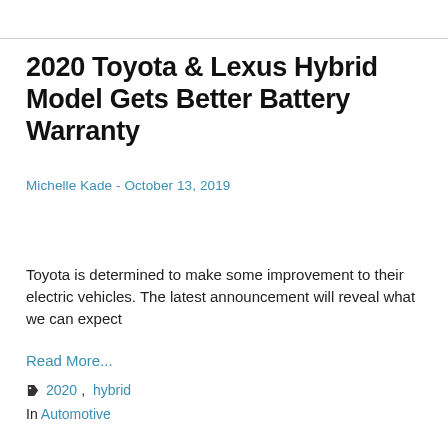2020 Toyota & Lexus Hybrid Model Gets Better Battery Warranty
Michelle Kade - October 13, 2019
Toyota is determined to make some improvement to their electric vehicles. The latest announcement will reveal what we can expect
Read More...
2020, hybrid
In Automotive